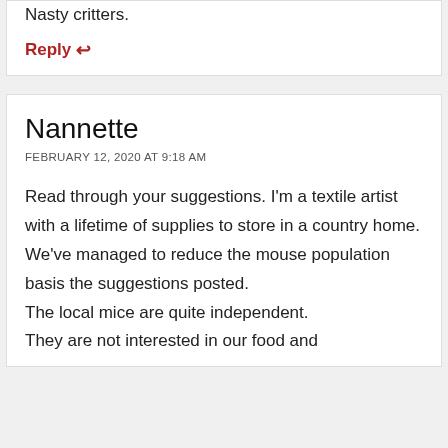Nasty critters.
Reply ↩
Nannette
FEBRUARY 12, 2020 AT 9:18 AM
Read through your suggestions. I'm a textile artist with a lifetime of supplies to store in a country home.
We've managed to reduce the mouse population basis the suggestions posted.
The local mice are quite independent.
They are not interested in our food and